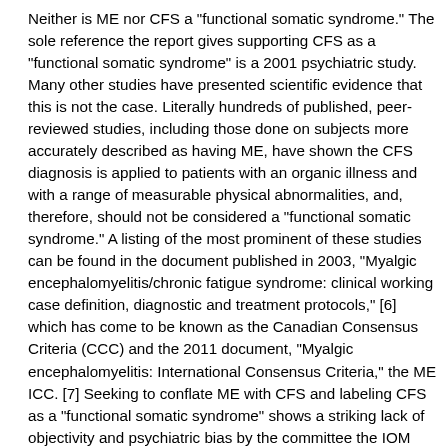Neither is ME nor CFS a "functional somatic syndrome." The sole reference the report gives supporting CFS as a "functional somatic syndrome" is a 2001 psychiatric study. Many other studies have presented scientific evidence that this is not the case. Literally hundreds of published, peer-reviewed studies, including those done on subjects more accurately described as having ME, have shown the CFS diagnosis is applied to patients with an organic illness and with a range of measurable physical abnormalities, and, therefore, should not be considered a "functional somatic syndrome." A listing of the most prominent of these studies can be found in the document published in 2003, "Myalgic encephalomyelitis/chronic fatigue syndrome: clinical working case definition, diagnostic and treatment protocols," [6] which has come to be known as the Canadian Consensus Criteria (CCC) and the 2011 document, "Myalgic encephalomyelitis: International Consensus Criteria," the ME ICC. [7] Seeking to conflate ME with CFS and labeling CFS as a "functional somatic syndrome" shows a striking lack of objectivity and psychiatric bias by the committee the IOM selected to study GWI and whose report the IOM approved. How can the IOM now consider itself free from a disqualifying conflict of interest in selecting an "ME/CFS" committee and sanctioning its report? The IOM has already approved a report claiming that ME and CFS are not "real" illnesses but rather "functional somatic syndromes." Is the IOM going